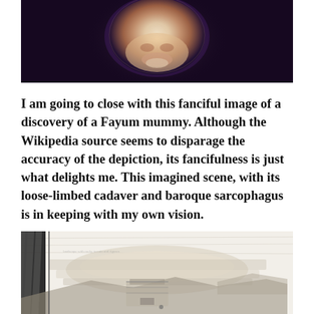[Figure (photo): Close-up painting or photograph of a face (likely a mummy portrait) with a glowing, luminous quality against a deep purple-dark background]
I am going to close with this fanciful image of a discovery of a Fayum mummy. Although the Wikipedia source seems to disparage the accuracy of the depiction, its fancifulness is just what delights me. This imagined scene, with its loose-limbed cadaver and baroque sarcophagus is in keeping with my own vision.
[Figure (illustration): Black and white engraving or illustration of a landscape scene, appearing to depict an archaeological or desert scene with rocky terrain, figures, and a sarcophagus discovery]